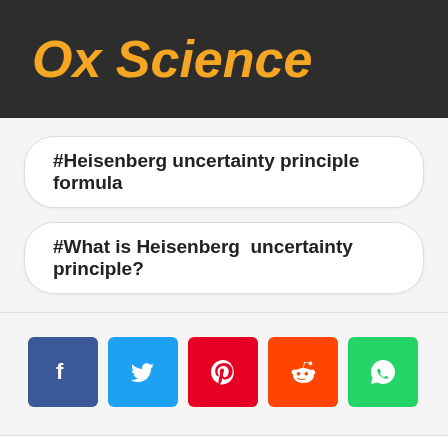Ox Science
#Heisenberg uncertainty principle formula
#What is Heisenberg  uncertainty principle?
[Figure (infographic): Social share buttons: Facebook (blue), Twitter (light blue), Pinterest (red), Reddit (orange-red), WhatsApp (green), each as colored squares with white icons]
[Figure (infographic): Bottom social bar with Facebook, Twitter, Pinterest, WhatsApp buttons; orange accent bar at bottom; scroll-to-top gold circle button with up chevron]